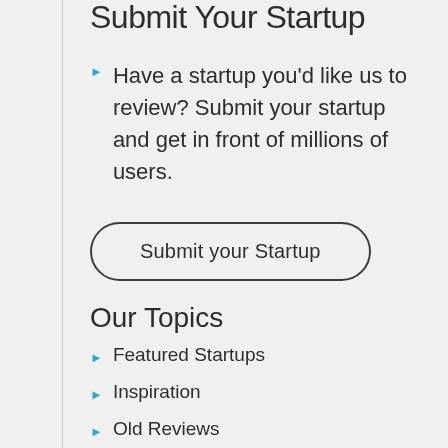Submit Your Startup
Have a startup you'd like us to review? Submit your startup and get in front of millions of users.
Submit your Startup
Our Topics
Featured Startups
Inspiration
Old Reviews